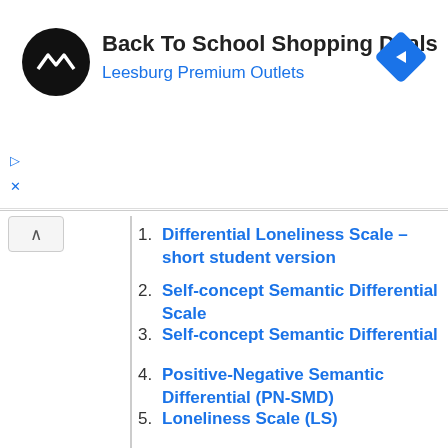[Figure (screenshot): Ad banner for Back To School Shopping Deals at Leesburg Premium Outlets with logo and navigation arrow icon]
1. Differential Loneliness Scale – short student version
2. Self-concept Semantic Differential Scale
3. Self-concept Semantic Differential
4. Positive-Negative Semantic Differential (PN-SMD)
5. Loneliness Scale (LS)
6. UCLA Loneliness Scale
7. Argentine Loneliness Scale for Adolescents